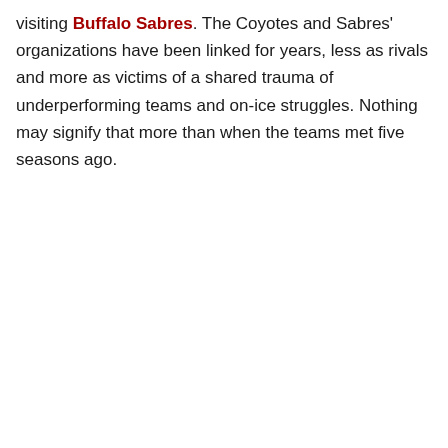visiting Buffalo Sabres. The Coyotes and Sabres' organizations have been linked for years, less as rivals and more as victims of a shared trauma of underperforming teams and on-ice struggles. Nothing may signify that more than when the teams met five seasons ago.